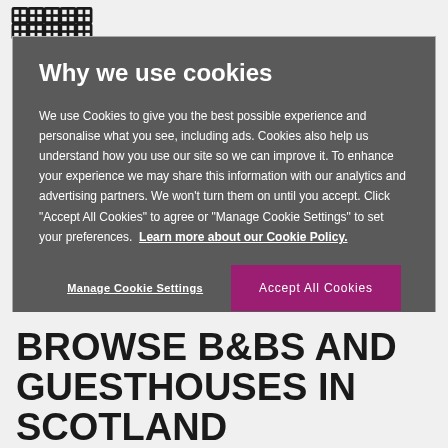VisitScotland logo (decorative knotwork pattern)
Why we use cookies
We use Cookies to give you the best possible experience and personalise what you see, including ads. Cookies also help us understand how you use our site so we can improve it. To enhance your experience we may share this information with our analytics and advertising partners. We won't turn them on until you accept. Click “Accept All Cookies” to agree or “Manage Cookie Settings” to set your preferences.  Learn more about our Cookie Policy.
Manage Cookie Settings
Accept All Cookies
BROWSE B&BS AND GUESTHOUSES IN SCOTLAND